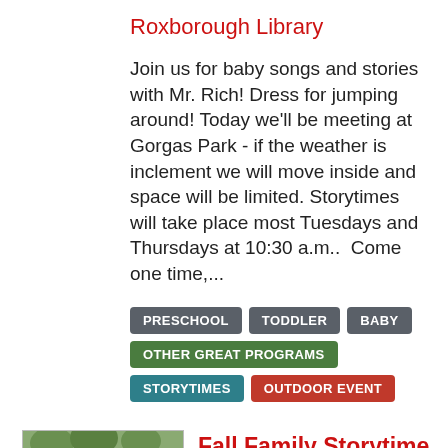Roxborough Library
Join us for baby songs and stories with Mr. Rich! Dress for jumping around! Today we'll be meeting at Gorgas Park - if the weather is inclement we will move inside and space will be limited. Storytimes will take place most Tuesdays and Thursdays at 10:30 a.m..  Come one time,...
PRESCHOOL
TODDLER
BABY
OTHER GREAT PROGRAMS
STORYTIMES
OUTDOOR EVENT
[Figure (photo): Children and adults sitting outdoors at a storytime event under trees]
Fall Family Storytime at Sister Cities Park!